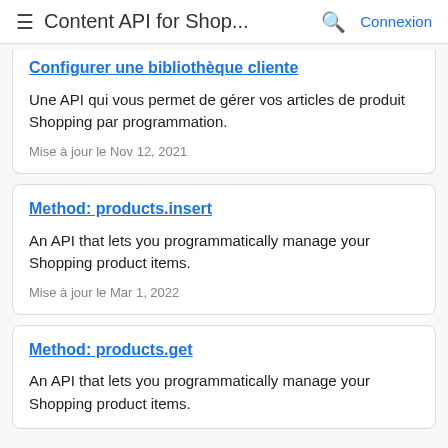Content API for Shop... Connexion
Configurer une bibliothèque cliente
Une API qui vous permet de gérer vos articles de produit Shopping par programmation.
Mise à jour le Nov 12, 2021
Method: products.insert
An API that lets you programmatically manage your Shopping product items.
Mise à jour le Mar 1, 2022
Method: products.get
An API that lets you programmatically manage your Shopping product items.